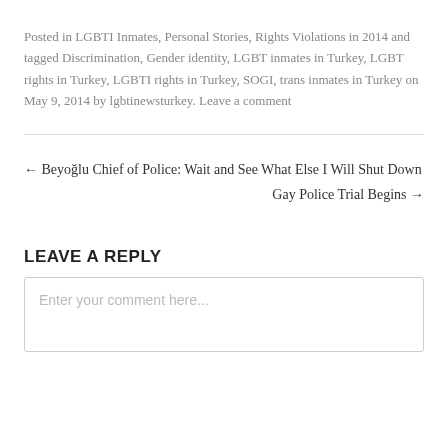Posted in LGBTI Inmates, Personal Stories, Rights Violations in 2014 and tagged Discrimination, Gender identity, LGBT inmates in Turkey, LGBT rights in Turkey, LGBTI rights in Turkey, SOGI, trans inmates in Turkey on May 9, 2014 by lgbtinewsturkey. Leave a comment
← Beyoğlu Chief of Police: Wait and See What Else I Will Shut Down
Gay Police Trial Begins →
LEAVE A REPLY
Enter your comment here...